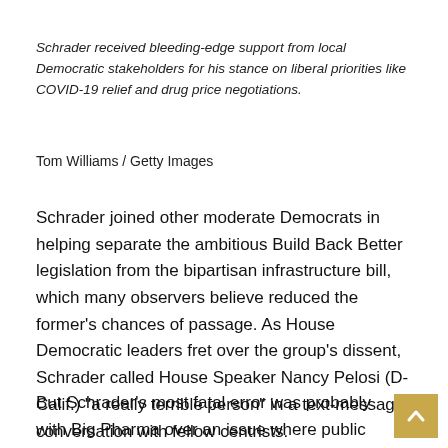Schrader received bleeding-edge support from local Democratic stakeholders for his stance on liberal priorities like COVID-19 relief and drug price negotiations.
Tom Williams / Getty Images
Schrader joined other moderate Democrats in helping separate the ambitious Build Back Better legislation from the bipartisan infrastructure bill, which many observers believe reduced the former's chances of passage. As House Democratic leaders fret over the group's dissent, Schrader called House Speaker Nancy Pelosi (D-Calif.) “a really terrible person” in a text-message conversation with fellow centrists.
But Schrader’s most fatal error was probably with Big Pharma over an issue where public opinion is against the industry.